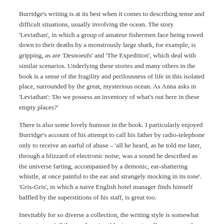Burridge's writing is at its best when it comes to describing tense and difficult situations, usually involving the ocean. The story 'Leviathan', in which a group of amateur fishermen face being towed down to their deaths by a monstrously large shark, for example, is gripping, as are 'Desnoeufs' and 'The Expedition', which deal with similar scenarios. Underlying these stories and many others in the book is a sense of the fragility and perilousness of life in this isolated place, surrounded by the great, mysterious ocean. As Anna asks in 'Leviathan': 'Do we possess an inventory of what's out here in these empty places?'
There is also some lovely humour in the book. I particularly enjoyed Burridge's account of his attempt to call his father by radio-telephone only to receive an earful of abuse – 'all he heard, as he told me later, through a blizzard of electronic noise, was a sound he described as the universe farting, accompanied by a demonic, ear-shattering whistle, at once painful to the ear and strangely mocking in its tone'. 'Gris-Gris', in which a naive English hotel manager finds himself baffled by the superstitions of his staff, is great too.
Inevitably for so diverse a collection, the writing style is somewhat inconsistent. While mostly enjoyable, it occasionally verges on the florid